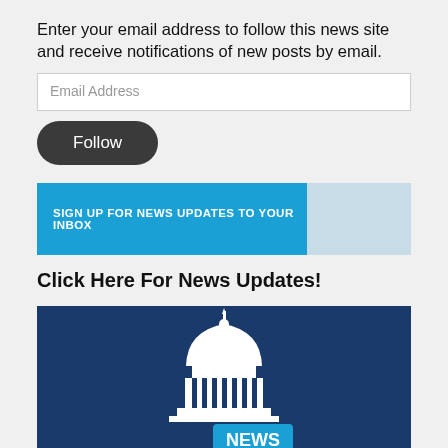Enter your email address to follow this news site and receive notifications of new posts by email.
Email Address
Follow
SIGN UP FOR NEWS UPDATES TO YOUR INBOX
Click Here For News Updates!
[Figure (illustration): Dark blue banner with a white capitol building icon and a blue speech bubble labeled NEWS]